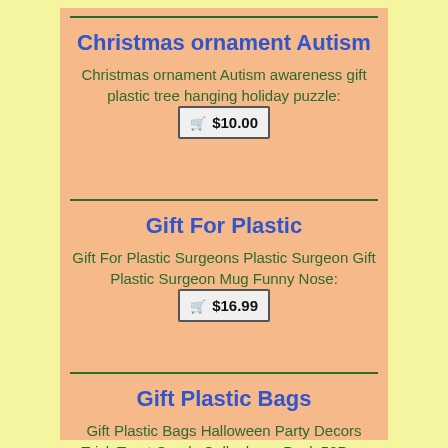Christmas ornament Autism
Christmas ornament Autism awareness gift plastic tree hanging holiday puzzle: $10.00
Gift For Plastic
Gift For Plastic Surgeons Plastic Surgeon Gift Plastic Surgeon Mug Funny Nose: $16.99
Gift Plastic Bags
Gift Plastic Bags Halloween Party Decors Trick Treat Candy Cellophane Pack 50Pcs: $10.70